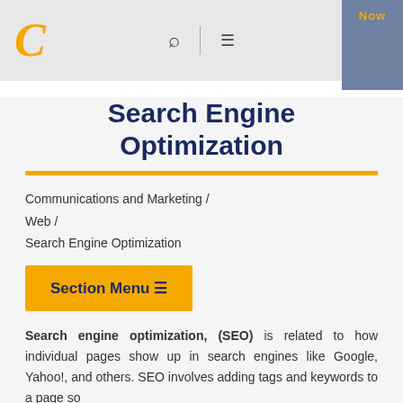C | Search | Menu | Now
Search Engine Optimization
Communications and Marketing / Web / Search Engine Optimization
Section Menu ≡
Search engine optimization, (SEO) is related to how individual pages show up in search engines like Google, Yahoo!, and others. SEO involves adding tags and keywords to a page so